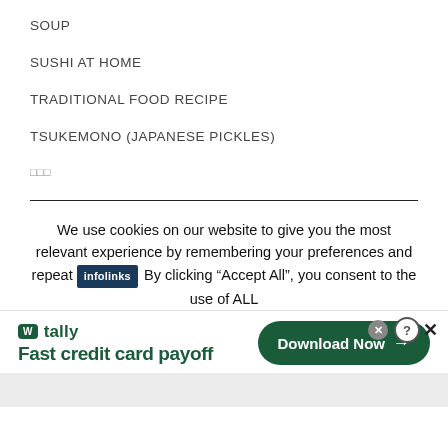SOUP
SUSHI AT HOME
TRADITIONAL FOOD RECIPE
TSUKEMONO (JAPANESE PICKLES)
□□□
We use cookies on our website to give you the most relevant experience by remembering your preferences and repeat
By clicking “Accept All”, you consent to the use of ALL
[Figure (screenshot): Advertisement banner for Tally app: logo, tagline 'Fast credit card payoff', and 'Download Now' button]